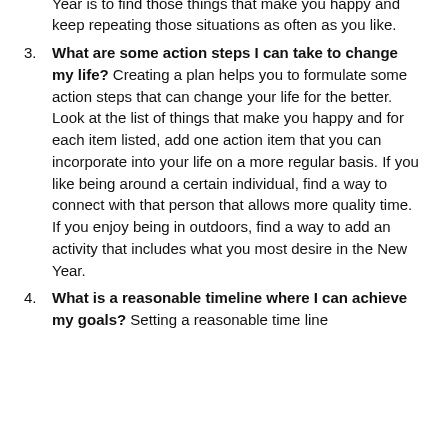(continuation) being more active in nature, or finding more meaningful work or just being around people that make you laugh. Reflecting on those people and places that truly make your heart sing is a way to remain true to who you are and help you more easily eliminate those situations and people that don't fit that bill. Your main goal in the New Year is to find those things that make you happy and keep repeating those situations as often as you like.
3. What are some action steps I can take to change my life? Creating a plan helps you to formulate some action steps that can change your life for the better. Look at the list of things that make you happy and for each item listed, add one action item that you can incorporate into your life on a more regular basis. If you like being around a certain individual, find a way to connect with that person that allows more quality time. If you enjoy being in outdoors, find a way to add an activity that includes what you most desire in the New Year.
4. What is a reasonable timeline where I can achieve my goals? Setting a reasonable time line